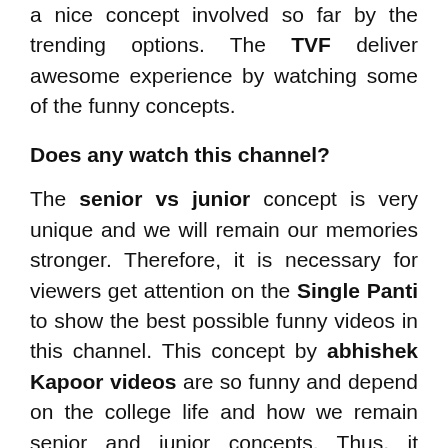a nice concept involved so far by the trending options. The TVF deliver awesome experience by watching some of the funny concepts.
Does any watch this channel?
The senior vs junior concept is very unique and we will remain our memories stronger. Therefore, it is necessary for viewers get attention on the Single Panti to show the best possible funny videos in this channel. This concept by abhishek Kapoor videos are so funny and depend on the college life and how we remain senior and junior concepts. Thus, it makes use of certain things to learn about the college fun about senior and junior as well. Senior and junior concept is very different because everyone must have remarkable